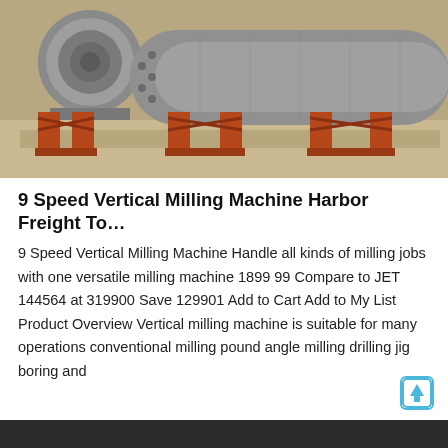[Figure (photo): Large industrial milling machines (cylindrical drums) mounted on rusty orange metal stands in a warehouse or outdoor storage area, viewed from the side. Grey metal cylindrical bodies visible with bolted flanges.]
9 Speed Vertical Milling Machine Harbor Freight To…
9 Speed Vertical Milling Machine Handle all kinds of milling jobs with one versatile milling machine 1899 99 Compare to JET 144564 at 319900 Save 129901 Add to Cart Add to My List Product Overview Vertical milling machine is suitable for many operations conventional milling pound angle milling drilling jig boring and